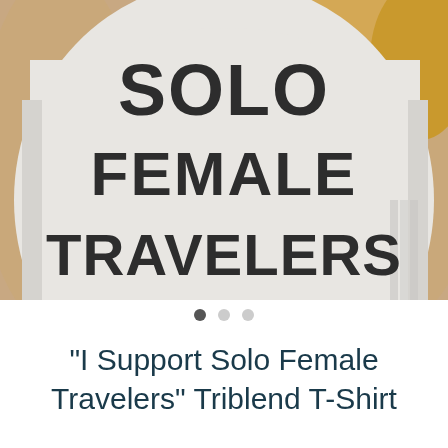[Figure (photo): Photo of a person wearing a light grey heather t-shirt with bold dark text reading 'SOLO FEMALE TRAVELERS'. The photo is cropped to show the torso/chest area. Background shows part of the person's arms and hair.]
"I Support Solo Female Travelers" Triblend T-Shirt